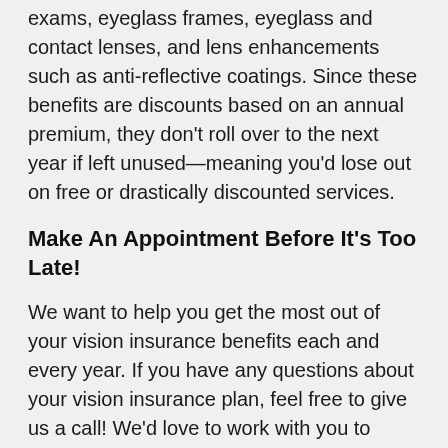exams, eyeglass frames, eyeglass and contact lenses, and lens enhancements such as anti-reflective coatings. Since these benefits are discounts based on an annual premium, they don't roll over to the next year if left unused—meaning you'd lose out on free or drastically discounted services.
Make An Appointment Before It's Too Late!
We want to help you get the most out of your vision insurance benefits each and every year. If you have any questions about your vision insurance plan, feel free to give us a call! We'd love to work with you to meet your family's eye care needs.
Thank you for continuing to place your trust in our practice